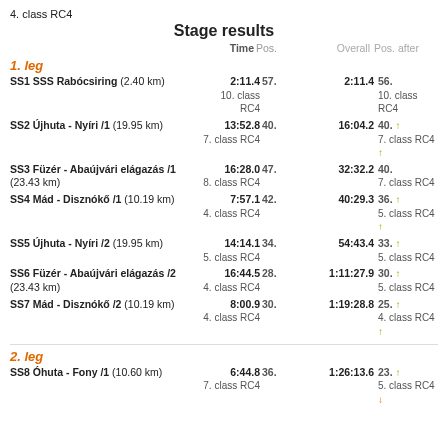4. class RC4
Stage results
1. leg
| Stage | Time | Pos. | Overall | Pos. after |
| --- | --- | --- | --- | --- |
| SS1 SSS Rabócsiring (2.40 km) | 2:11.4 | 57. | 2:11.4 | 56. |
| SS2 Újhuta - Nyíri /1 (19.95 km) | 13:52.8 | 40. | 16:04.2 | 40. ↑ |
| SS3 Füzér - Abaújvári elágazás /1 (23.43 km) | 16:28.0 | 47. | 32:32.2 | 40. |
| SS4 Mád - Disznókő /1 (10.19 km) | 7:57.1 | 42. | 40:29.3 | 36. ↑ |
| SS5 Újhuta - Nyíri /2 (19.95 km) | 14:14.1 | 34. | 54:43.4 | 33. ↑ |
| SS6 Füzér - Abaújvári elágazás /2 (23.43 km) | 16:44.5 | 28. | 1:11:27.9 | 30. ↑ |
| SS7 Mád - Disznókő /2 (10.19 km) | 8:00.9 | 30. | 1:19:28.8 | 25. ↑ |
2. leg
| Stage | Time | Pos. | Overall | Pos. after |
| --- | --- | --- | --- | --- |
| SS8 Óhuta - Fony /1 (10.60 km) | 6:44.8 | 36. | 1:26:13.6 | 23. ↑ |